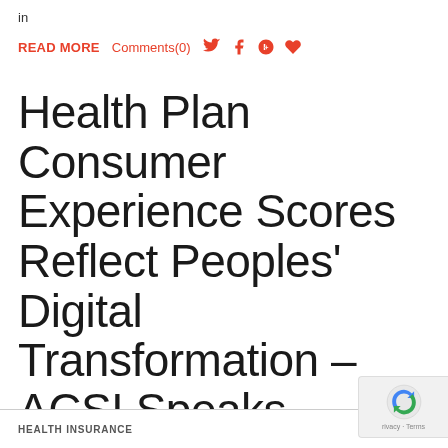in
READ MORE  Comments(0)  [Twitter] [Facebook] [Google+] [Heart]
Health Plan Consumer Experience Scores Reflect Peoples' Digital Transformation – ACSI Speaks
HEALTH INSURANCE